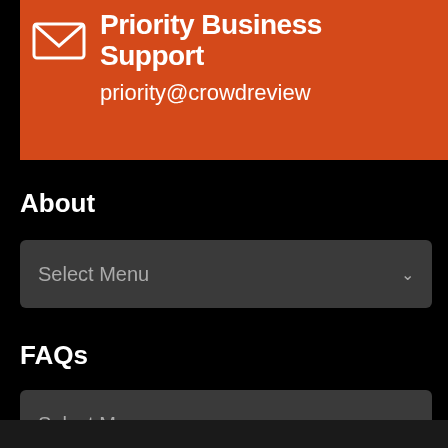[Figure (infographic): Orange banner with envelope icon, 'Priority Business Support' title, and 'priority@crowdreview' email address]
About
Select Menu
FAQs
Select Menu